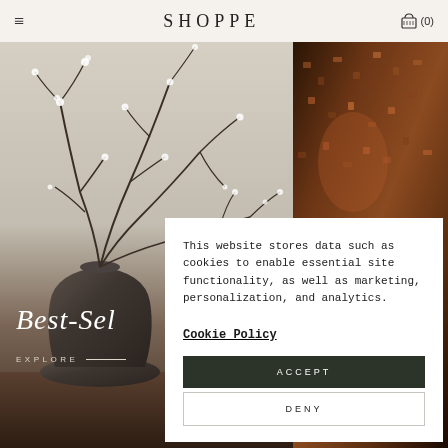SHOPPE
[Figure (photo): Left: vase with flowering branches on a neutral background. Right: close-up of a dark textured fabric/rug in warm brown tones.]
Best-Sel
EXPLORE —
This website stores data such as cookies to enable essential site functionality, as well as marketing, personalization, and analytics.
Cookie Policy
ACCEPT
DENY